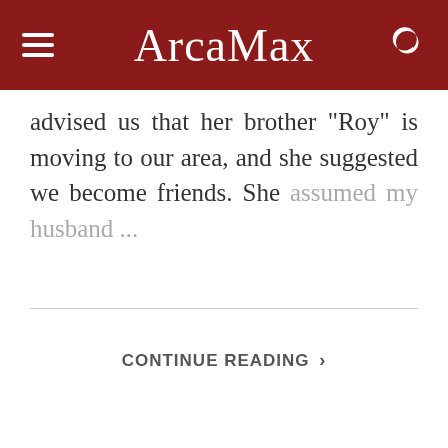ArcaMax
advised us that her brother "Roy" is moving to our area, and she suggested we become friends. She assumed my husband ...
CONTINUE READING ›